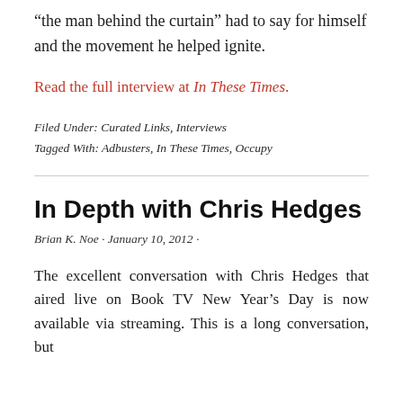“the man behind the curtain” had to say for himself and the movement he helped ignite.
Read the full interview at In These Times.
Filed Under: Curated Links, Interviews
Tagged With: Adbusters, In These Times, Occupy
In Depth with Chris Hedges
Brian K. Noe · January 10, 2012 ·
The excellent conversation with Chris Hedges that aired live on Book TV New Year’s Day is now available via streaming. This is a long conversation, but...